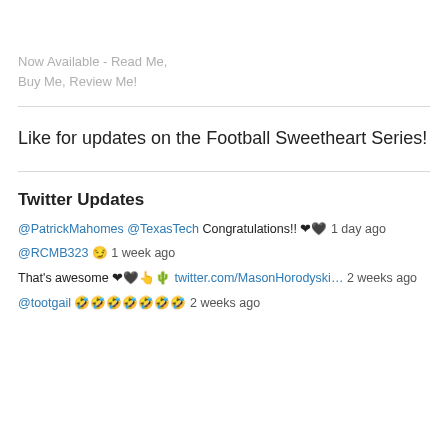Now Available - Read Me, Buy Me, Review Me!
Like for updates on the Football Sweetheart Series!
Twitter Updates
@PatrickMahomes @TexasTech Congratulations!! ❤🖤 1 day ago
@RCMB323 😏 1 week ago
That's awesome ❤🖤👆🌵 twitter.com/MasonHorodyski… 2 weeks ago
@tootgail 🤣🤣🤣🤣🤣🤣🤣 2 weeks ago